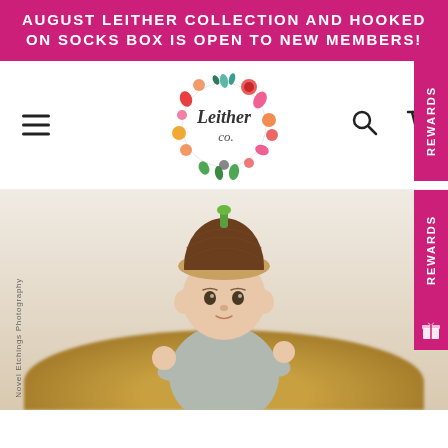AUGUST LEITHER COLLECTION AND HOOKED ON SOCKS BOX IS OPEN TO NEW MEMBERS!
[Figure (logo): Leither Co. logo — script text inside a circular wreath of colorful watercolor flowers with a yarn ball at the bottom]
[Figure (photo): Baby wearing a brown crocheted acorn hat with a green stem, dressed in gray, posed in a fluffy tan fur-lined bowl basket. Watermark reads 'Novel Etchings Photography' vertically on the left side. A pink 'REWARDS' tab is visible on the right edge.]